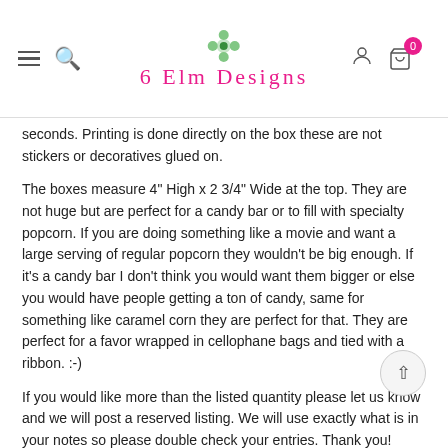6 Elm Designs
seconds. Printing is done directly on the box these are not stickers or decoratives glued on.
The boxes measure 4" High x 2 3/4" Wide at the top. They are not huge but are perfect for a candy bar or to fill with specialty popcorn. If you are doing something like a movie and want a large serving of regular popcorn they wouldn't be big enough. If it's a candy bar I don't think you would want them bigger or else you would have people getting a ton of candy, same for something like caramel corn they are perfect for that. They are perfect for a favor wrapped in cellophane bags and tied with a ribbon. :-)
If you would like more than the listed quantity please let us know and we will post a reserved listing. We will use exactly what is in your notes so please double check your entries. Thank you!
*******Boxes only contents not included. ******************
There are no returns on personalized items.